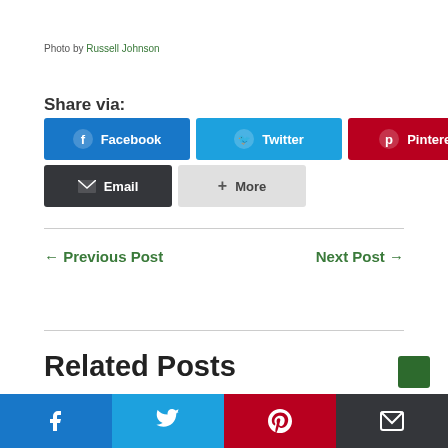Photo by Russell Johnson
Share via:
[Figure (screenshot): Social share buttons: Facebook, Twitter, Pinterest, Email, More]
← Previous Post    Next Post →
Related Posts
[Figure (screenshot): Bottom social share bar with Facebook, Twitter, Pinterest, Email icons]